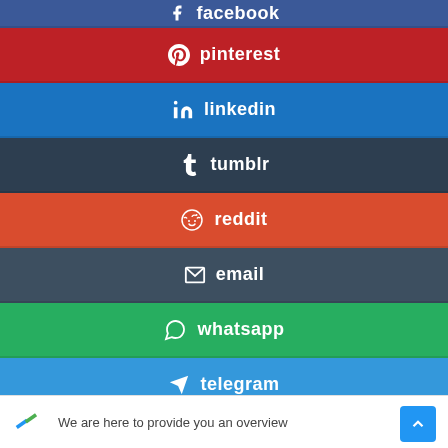facebook
pinterest
linkedin
tumblr
reddit
email
whatsapp
telegram
Internships in Pretoria   June Deadline
We are here to provide you an overview